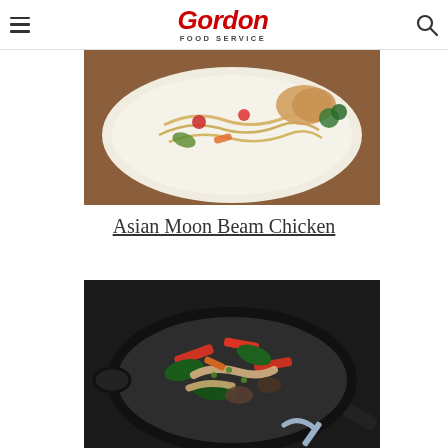Gordon Food Service
[Figure (photo): Photo of Asian Moon Beam Chicken dish — noodles, vegetables including tomatoes, broccoli, carrots on a white plate on a wooden table]
Asian Moon Beam Chicken
[Figure (photo): Photo of a stir-fry dish in a black cast iron skillet — contains chicken, red peppers, spinach, mushrooms and other vegetables]